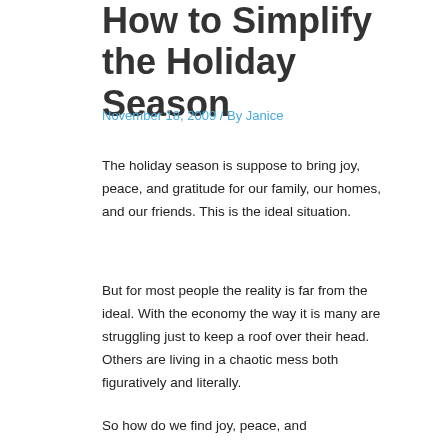How to Simplify the Holiday Season
November 18, 2009 / By Janice
The holiday season is suppose to bring joy, peace, and gratitude for our family, our homes, and our friends. This is the ideal situation.
But for most people the reality is far from the ideal. With the economy the way it is many are struggling just to keep a roof over their head. Others are living in a chaotic mess both figuratively and literally.
So how do we find joy, peace, and